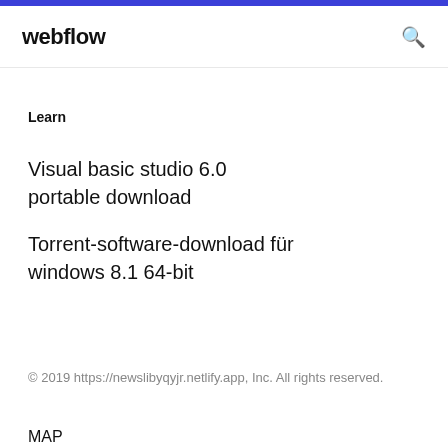webflow
Learn
Visual basic studio 6.0 portable download
Torrent-software-download für windows 8.1 64-bit
© 2019 https://newslibyqyjr.netlify.app, Inc. All rights reserved.
MAP